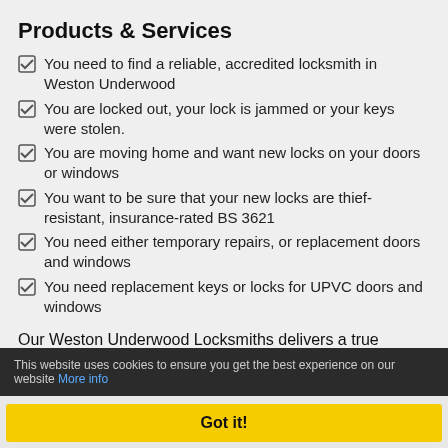Products & Services
You need to find a reliable, accredited locksmith in Weston Underwood
You are locked out, your lock is jammed or your keys were stolen.
You are moving home and want new locks on your doors or windows
You want to be sure that your new locks are thief-resistant, insurance-rated BS 3621
You need either temporary repairs, or replacement doors and windows
You need replacement keys or locks for UPVC doors and windows
Our Weston Underwood Locksmiths delivers a true emergency locksmith service! You can rely on us regardless of time day or night, we will help you gain access to your
This website uses cookies to ensure you get the best experience on our website More info
Got it!